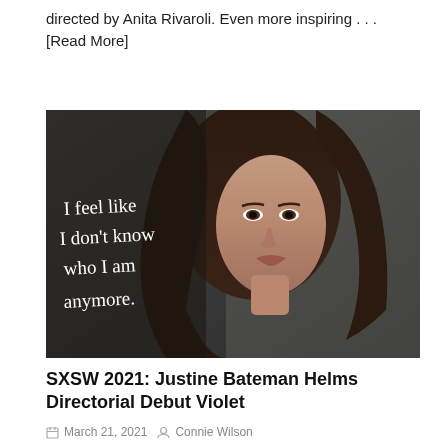directed by Anita Rivaroli. Even more inspiring . . . [Read More]
[Figure (photo): Film still showing a woman with long dark hair looking at the camera with handwritten text overlay reading 'I feel like I don't know who I am anymore.']
SXSW 2021: Justine Bateman Helms Directorial Debut Violet
March 21, 2021   Connie Wilson